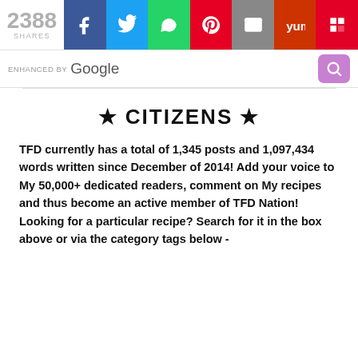2388 SHARES
[Figure (screenshot): Social share bar with Facebook, Twitter, WhatsApp, Pinterest, Email, Yummly, and Flipboard buttons]
[Figure (screenshot): Enhanced by Google search bar with purple search button]
★ CITIZENS ★
TFD currently has a total of 1,345 posts and 1,097,434 words written since December of 2014! Add your voice to My 50,000+ dedicated readers, comment on My recipes and thus become an active member of TFD Nation! Looking for a particular recipe? Search for it in the box above or via the category tags below -